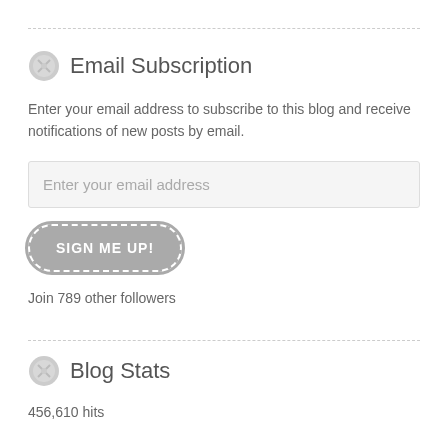Email Subscription
Enter your email address to subscribe to this blog and receive notifications of new posts by email.
Enter your email address
SIGN ME UP!
Join 789 other followers
Blog Stats
456,610 hits